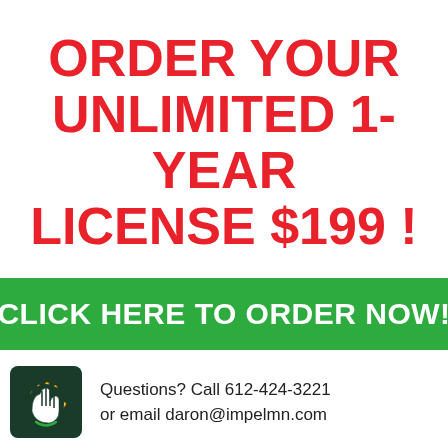ORDER YOUR UNLIMITED 1-YEAR LICENSE $199 !
CLICK HERE TO ORDER NOW!
[Figure (logo): Dark green circular logo with a hand/cursor icon inside]
Questions? Call 612-424-3221
or email daron@impelmn.com